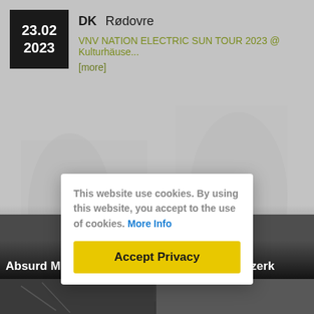23.02
2023
DK  Rødovre
VNV NATION ELECTRIC SUN TOUR 2023 @ Kulturhäuse...
[more]
All Dates >
[Figure (photo): Background concrete/stone texture with faint figure silhouettes]
Absurd Minds
Apoptygma Berzerk
This website use cookies. By using this website, you accept to the use of cookies. More Info
Accept Privacy